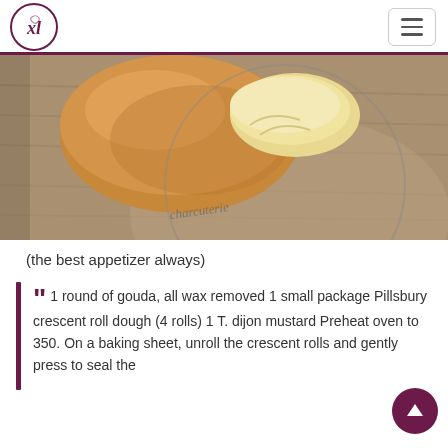[Figure (logo): XL logo in a circle with cursive/hand-lettered style, dark purple/maroon color]
[Figure (photo): Close-up photo of baked crescent roll wrapped gouda on a wooden/slate serving board]
(the best appetizer always)
1 round of gouda, all wax removed 1 small package Pillsbury crescent roll dough (4 rolls) 1 T. dijon mustard Preheat oven to 350. On a baking sheet, unroll the crescent rolls and gently press to seal the